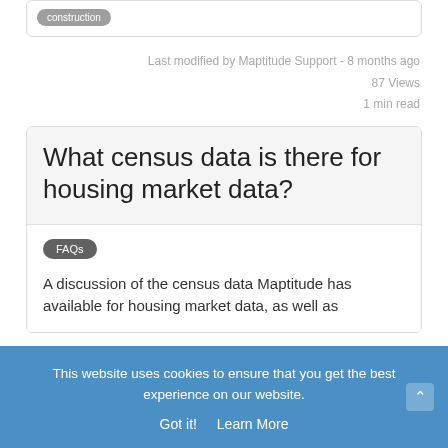construction
Last modified by Maptitude Support - 8 months ago
87 Views
1 min read
What census data is there for housing market data?
FAQs
A discussion of the census data Maptitude has available for housing market data, as well as
This website uses cookies to ensure that you get the best experience on our website.
Got it!  Learn More